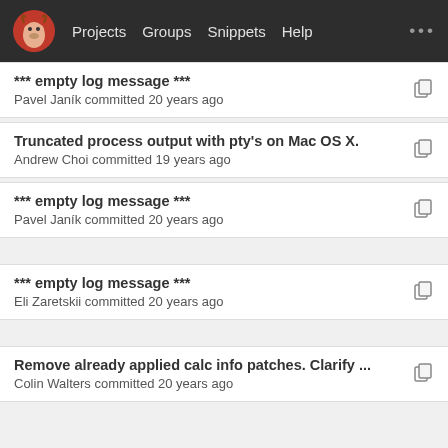Projects  Groups  Snippets  Help
*** empty log message ***
Pavel Janík committed 20 years ago
Truncated process output with pty's on Mac OS X.
Andrew Choi committed 19 years ago
*** empty log message ***
Pavel Janík committed 20 years ago
*** empty log message ***
Eli Zaretskii committed 20 years ago
Remove already applied calc info patches. Clarify ...
Colin Walters committed 20 years ago